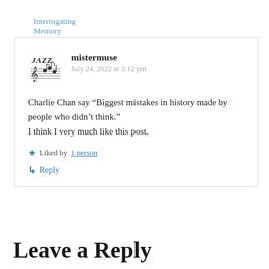Interrogating Memory book – Just Bear With Me...
mistermuse
July 24, 2022 at 3:12 pm
Charlie Chan say “Biggest mistakes in history made by people who didn’t think.”
I think I very much like this post.
Liked by 1 person
Reply
Leave a Reply